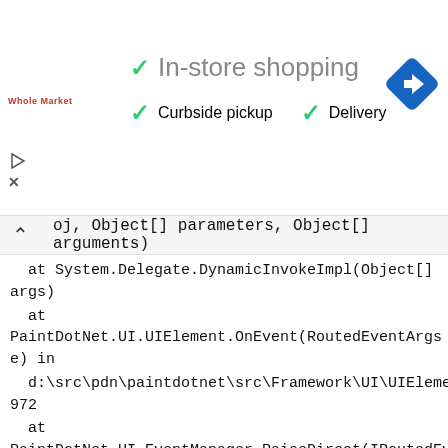[Figure (screenshot): Banner advertisement showing store shopping options with green checkmarks for 'In-store shopping', 'Curbside pickup', and 'Delivery', with a Whole Foods Market logo and a blue navigation arrow icon.]
oj, Object[] parameters, Object[] arguments)
   at System.Delegate.DynamicInvokeImpl(Object[] args)
   at PaintDotNet.UI.UIElement.OnEvent(RoutedEventArgs e) in
   d:\src\pdn\paintdotnet\src\Framework\UI\UIElement.cs:line 972
   at PaintDotNet.UI.EventManager.RaiseDirect(IRoutedEventSink
   target, RoutedEventArgs e) in
   d:\src\pdn\paintdotnet\src\Framework\UI\EventManager.cs:line
   196
   at PaintDotNet.UI.EventManager.RaiseBubble(IRoutedEventSink
   target, RoutedEventArgs e) in
   d:\src\pdn\paintdotnet\src\Framework\UI\EventManager.cs:line
   154
   at
   PaintDotNet.UI.Input.MouseDevice.ProcessMouseMove(PointDouble newPosition, IEnumerable`1 newIntermediatePoints) in
   d:\src\pdn\paintdotnet\src\Framework\UI\Input\MouseDevice.cs:line 433